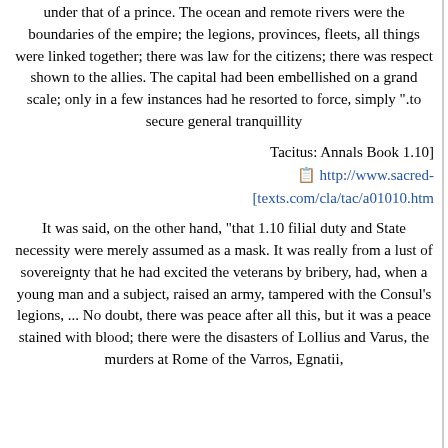under that of a prince. The ocean and remote rivers were the boundaries of the empire; the legions, provinces, fleets, all things were linked together; there was law for the citizens; there was respect shown to the allies. The capital had been embellished on a grand scale; only in a few instances had he resorted to force, simply ".to secure general tranquillity
Tacitus: Annals Book 1.10] http://www.sacred-texts.com/cla/tac/a01010.htm
It was said, on the other hand, "that 1.10 filial duty and State necessity were merely assumed as a mask. It was really from a lust of sovereignty that he had excited the veterans by bribery, had, when a young man and a subject, raised an army, tampered with the Consul's legions, ... No doubt, there was peace after all this, but it was a peace stained with blood; there were the disasters of Lollius and Varus, the murders at Rome of the Varros, Egnatii,